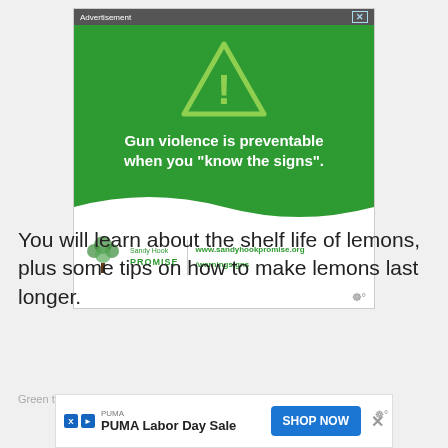[Figure (infographic): Sandy Hook Promise advertisement with green background, warning triangle icon, text 'Gun violence is preventable when you "know the signs".' and Sandy Hook Promise logo with website URL www.sandyhookpromise.org/warningsigns]
You will learn about the shelf life of lemons, plus some tips on how to make lemons last longer.
Green thumb Gardener occasionally links to product and/or
[Figure (infographic): PUMA Labor Day Sale advertisement with Shop Now button]